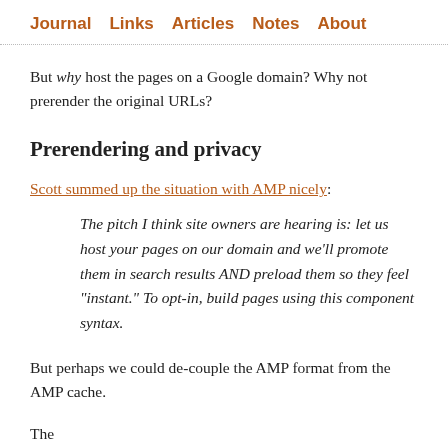Journal  Links  Articles  Notes  About
But why host the pages on a Google domain? Why not prerender the original URLs?
Prerendering and privacy
Scott summed up the situation with AMP nicely:
The pitch I think site owners are hearing is: let us host your pages on our domain and we’ll promote them in search results AND preload them so they feel “instant.” To opt-in, build pages using this component syntax.
But perhaps we could de-couple the AMP format from the AMP cache.
The